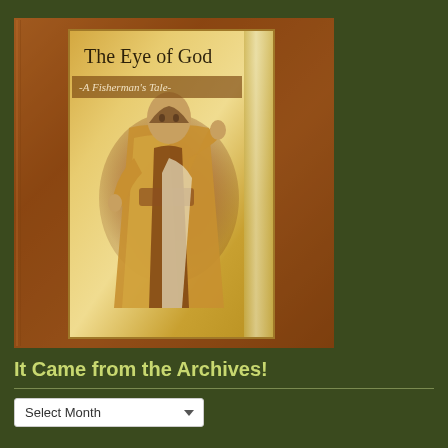[Figure (illustration): Book cover for 'The Eye of God - A Fisherman's Tale' showing a Byzantine-style figure in robes with hand raised, set against a golden/amber background with ornate border on dark brown textured outer cover]
It Came from the Archives!
Select Month (dropdown)